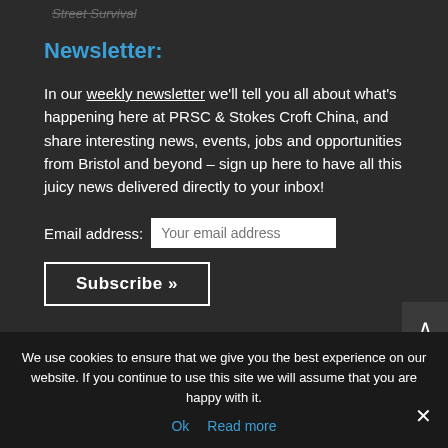Street Survival
Newsletter:
In our weekly newsletter we'll tell you all about what's happening here at PRSC & Stokes Croft China, and share interesting news, events, jobs and opportunities from Bristol and beyond – sign up here to have all this juicy news delivered directly to your inbox!
Email address: Your email address
Subscribe »
We use cookies to ensure that we give you the best experience on our website. If you continue to use this site we will assume that you are happy with it.
Ok   Read more